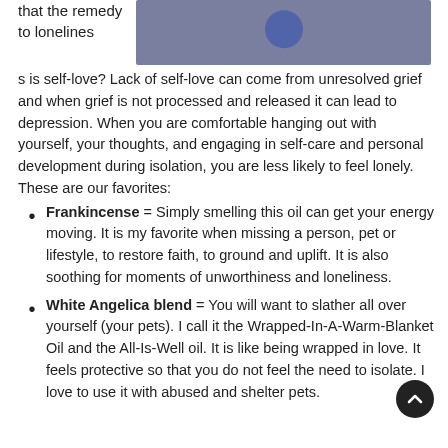[Figure (photo): Outdoor photo showing a rocky landscape with a person wearing a blue outfit, bluish-purple stone background]
that the remedy to loneliness is self-love? Lack of self-love can come from unresolved grief and when grief is not processed and released it can lead to depression. When you are comfortable hanging out with yourself, your thoughts, and engaging in self-care and personal development during isolation, you are less likely to feel lonely. These are our favorites:
Frankincense = Simply smelling this oil can get your energy moving. It is my favorite when missing a person, pet or lifestyle, to restore faith, to ground and uplift. It is also soothing for moments of unworthiness and loneliness.
White Angelica blend = You will want to slather all over yourself (your pets). I call it the Wrapped-In-A-Warm-Blanket Oil and the All-Is-Well oil. It is like being wrapped in love. It feels protective so that you do not feel the need to isolate. I love to use it with abused and shelter pets.